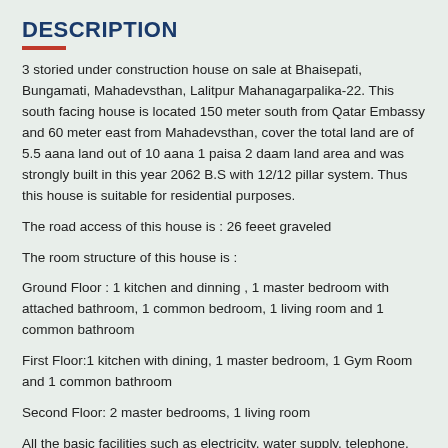DESCRIPTION
3 storied under construction house on sale at Bhaisepati, Bungamati, Mahadevsthan, Lalitpur Mahanagarpalika-22. This south facing house is located 150 meter south from Qatar Embassy and 60 meter east from Mahadevsthan, cover the total land are of 5.5 aana land out of 10 aana 1 paisa 2 daam land area and was strongly built in this year 2062 B.S with 12/12 pillar system. Thus this house is suitable for residential purposes.
The road access of this house is : 26 feeet graveled
The room structure of this house is :
Ground Floor : 1 kitchen and dinning , 1 master bedroom with attached bathroom, 1 common bedroom, 1 living room and 1 common bathroom
First Floor:1 kitchen with dining, 1 master bedroom, 1 Gym Room and 1 common bathroom
Second Floor:  2 master bedrooms, 1 living room
All the basic facilities such as electricity, water supply, telephone, cable